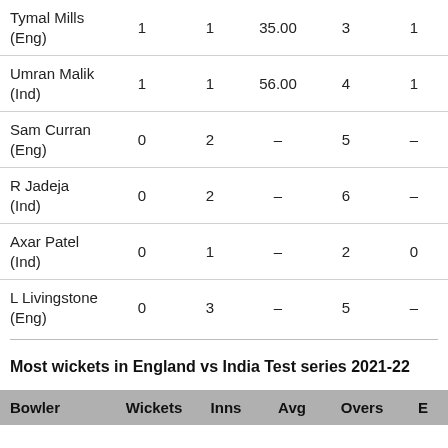| Bowler | Wickets | Inns | Avg | Overs |  |
| --- | --- | --- | --- | --- | --- |
| Tymal Mills (Eng) | 1 | 1 | 35.00 | 3 | 1 |
| Umran Malik (Ind) | 1 | 1 | 56.00 | 4 | 1 |
| Sam Curran (Eng) | 0 | 2 | – | 5 | – |
| R Jadeja (Ind) | 0 | 2 | – | 6 | – |
| Axar Patel (Ind) | 0 | 1 | – | 2 | 0 |
| L Livingstone (Eng) | 0 | 3 | – | 5 | – |
Most wickets in England vs India Test series 2021-22
| Bowler | Wickets | Inns | Avg | Overs | E |
| --- | --- | --- | --- | --- | --- |